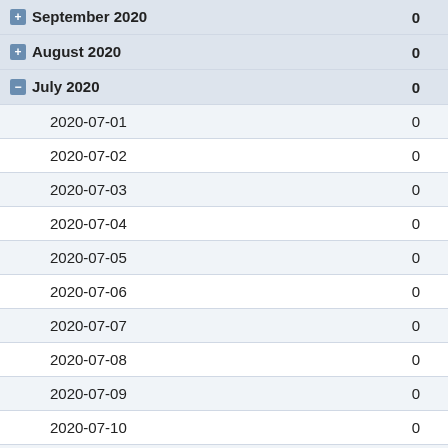| Date | Value |
| --- | --- |
| September 2020 | 0 |
| August 2020 | 0 |
| July 2020 | 0 |
| 2020-07-01 | 0 |
| 2020-07-02 | 0 |
| 2020-07-03 | 0 |
| 2020-07-04 | 0 |
| 2020-07-05 | 0 |
| 2020-07-06 | 0 |
| 2020-07-07 | 0 |
| 2020-07-08 | 0 |
| 2020-07-09 | 0 |
| 2020-07-10 | 0 |
| 2020-07-11 | 0 |
| 2020-07-12 | 0 |
| 2020-07-13 | 0 |
| 2020-07-14 | 0 |
| 2020-07-15 | 0 |
| 2020-07-16 | 0 |